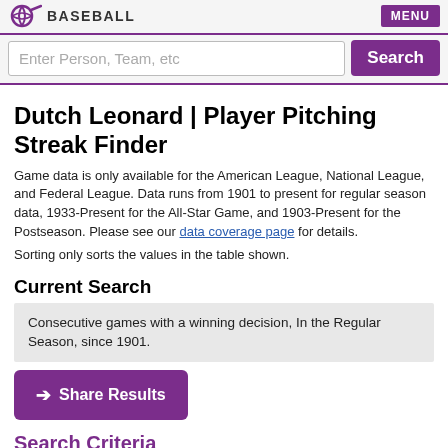BASEBALL  MENU
Enter Person, Team, etc  Search
Dutch Leonard | Player Pitching Streak Finder
Game data is only available for the American League, National League, and Federal League. Data runs from 1901 to present for regular season data, 1933-Present for the All-Star Game, and 1903-Present for the Postseason. Please see our data coverage page for details.
Sorting only sorts the values in the table shown.
Current Search
Consecutive games with a winning decision, In the Regular Season, since 1901.
➔ Share Results
Search Criteria